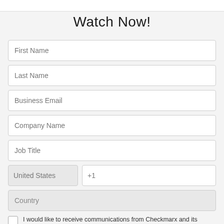Watch Now!
First Name
Last Name
Business Email
Company Name
Job Title
United States
+1
Country
I would like to receive communications from Checkmarx and its affiliates regarding software security, Checkmarx products and services.